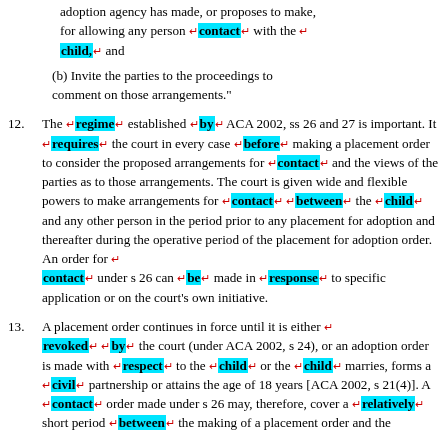adoption agency has made, or proposes to make, for allowing any person contact with the child, and
(b) Invite the parties to the proceedings to comment on those arrangements."
12. The regime established by ACA 2002, ss 26 and 27 is important. It requires the court in every case before making a placement order to consider the proposed arrangements for contact and the views of the parties as to those arrangements. The court is given wide and flexible powers to make arrangements for contact between the child and any other person in the period prior to any placement for adoption and thereafter during the operative period of the placement for adoption order. An order for contact under s 26 can be made in response to specific application or on the court's own initiative.
13. A placement order continues in force until it is either revoked by the court (under ACA 2002, s 24), or an adoption order is made with respect to the child or the child marries, forms a civil partnership or attains the age of 18 years [ACA 2002, s 21(4)]. A contact order made under s 26 may, therefore, cover a relatively short period between the making of a placement order and the